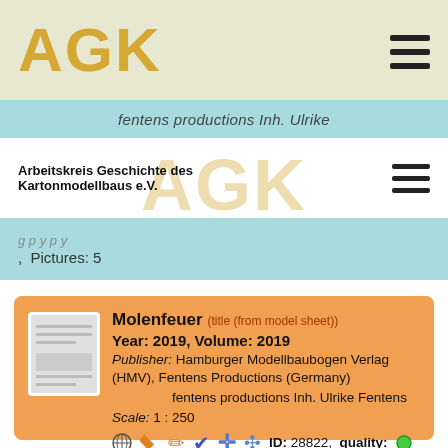AGK
fentens productions Inh. Ulrike
Arbeitskreis Geschichte des Kartonmodellbaus e.V.
, Pictures: 5
Molenfeuer (title (from model sheet)) Year: 2019, Volume: 2019 Publisher: Hamburger Modellbaubogen Verlag (HMV), Fentens Productions (Germany) fentens productions Inh. Ulrike Fentens Scale: 1 : 250 ID: 28822, quality: